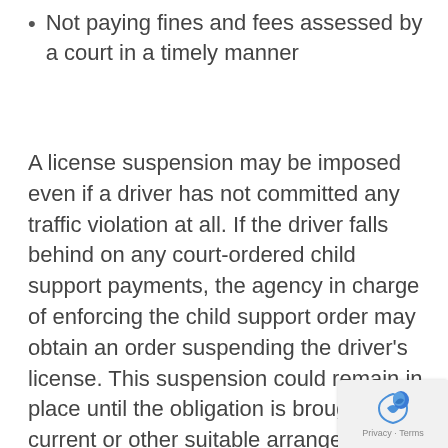Not paying fines and fees assessed by a court in a timely manner
A license suspension may be imposed even if a driver has not committed any traffic violation at all. If the driver falls behind on any court-ordered child support payments, the agency in charge of enforcing the child support order may obtain an order suspending the driver’s license. This suspension could remain in place until the obligation is brought current or other suitable arrangements are made with the agency.